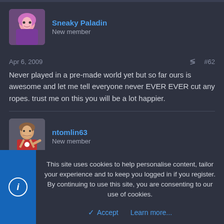[Figure (illustration): Forum post by Sneaky Paladin with anime avatar (pink-haired character in purple outfit), username in blue, role 'New member']
Sneaky Paladin
New member
Apr 6, 2009  #62
Never played in a pre-made world yet but so far ours is awesome and let me tell everyone never EVER EVER cut any ropes. trust me on this you will be a lot happier.
[Figure (illustration): Forum post by ntomlin63 with avatar (Jesus-like figure pointing), username in blue, role 'New member']
ntomlin63
New member
This site uses cookies to help personalise content, tailor your experience and to keep you logged in if you register. By continuing to use this site, you are consenting to our use of cookies.
Accept
Learn more...